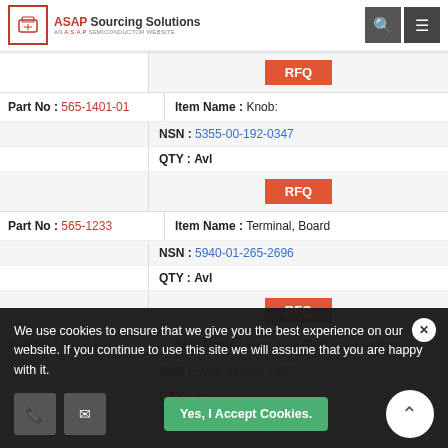ASAP Sourcing Solutions - AN A.S.A.P SEMICONDUCTOR WEBSITE
| Part No | Item Name / NSN / QTY |
| --- | --- |
| 565-1401-01 | Item Name: Knob:
NSN: 5355-00-192-0347
QTY: Avl |
| 565-1233 | Item Name: Terminal, Board
NSN: 5940-01-265-2696
QTY: Avl |
| 562-1107-02 | Item Name: Heat Sink,Electrical-Electroni
NSN: 5999-01-006-7957
QTY: Avl |
We use cookies to ensure that we give you the best experience on our website. If you continue to use this site we will assume that you are happy with it.